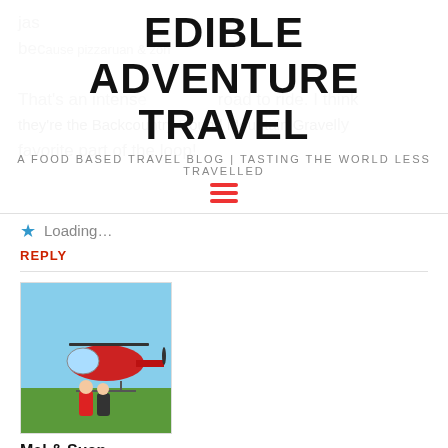EDIBLE ADVENTURE TRAVEL
A FOOD BASED TRAVEL BLOG | TASTING THE WORLD LESS TRAVELLED
That's an intense road to ride. I think … favorite part of the loop!
Loading...
REPLY
[Figure (photo): Avatar photo showing two people in front of a red helicopter]
Mel & Suan
October 8, 2016 at 5:50 am
Interesting option. We went northwards to Chiang Rai and to the Golden Triangle but not in the direction of